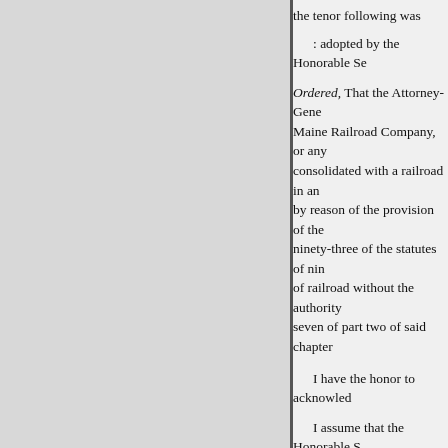the tenor following was
: adopted by the Honorable Se
Ordered, That the Attorney-Gene Maine Railroad Company, or any consolidated with a railroad in a by reason of the provision of the ninety-three of the statutes of ni of railroad without the authority seven of part two of said chapter
I have the honor to acknowled
I assume that the Honorable S of nineteen hundred and six," int
which is entitled " An Act relativ opinion upon the effect of sectio Boston & Maine Railroad and of Commonwealth and consolidate
The section referred to, St. 1906,
If a railroad corporation ownin owning a railroad in another stat